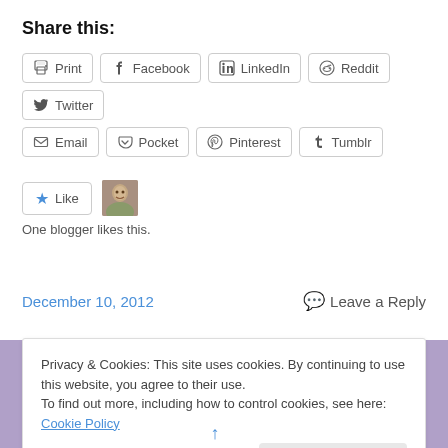Share this:
Print | Facebook | LinkedIn | Reddit | Twitter | Email | Pocket | Pinterest | Tumblr
Like  One blogger likes this.
December 10, 2012    Leave a Reply
Privacy & Cookies: This site uses cookies. By continuing to use this website, you agree to their use. To find out more, including how to control cookies, see here: Cookie Policy
Close and accept